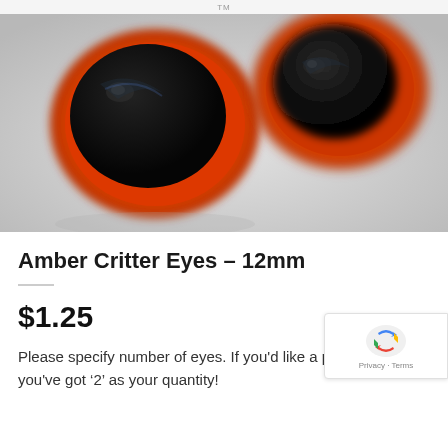TM
[Figure (photo): Close-up photo of two amber/red critter safety eyes with dark pupils, viewed from below/back showing the red washers, on a light grey background.]
Amber Critter Eyes – 12mm
$1.25
Please specify number of eyes. If you'd like a pair, sure you've got '2' as your quantity!